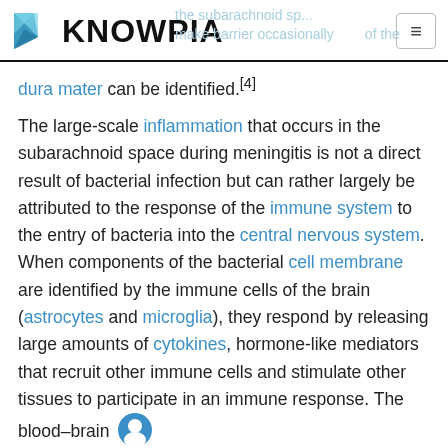KNOWPIA
dura mater can be identified.[4]
The large-scale inflammation that occurs in the subarachnoid space during meningitis is not a direct result of bacterial infection but can rather largely be attributed to the response of the immune system to the entry of bacteria into the central nervous system. When components of the bacterial cell membrane are identified by the immune cells of the brain (astrocytes and microglia), they respond by releasing large amounts of cytokines, hormone-like mediators that recruit other immune cells and stimulate other tissues to participate in an immune response. The blood–brain barrier becomes more permeable, leading to "vasogenic" cerebral edema (swelling of the brain due